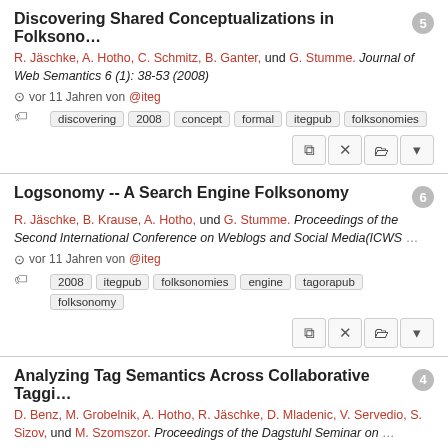Discovering Shared Conceptualizations in Folksono…
R. Jäschke, A. Hotho, C. Schmitz, B. Ganter, und G. Stumme. Journal of Web Semantics 6 (1): 38-53 (2008)
vor 11 Jahren von @iteg
discovering  2008  concept  formal  itegpub  folksonomies
Logsonomy -- A Search Engine Folksonomy
R. Jäschke, B. Krause, A. Hotho, und G. Stumme. Proceedings of the Second International Conference on Weblogs and Social Media(ICWS …
vor 11 Jahren von @iteg
2008  itegpub  folksonomies  engine  tagorapub  folksonomy
Analyzing Tag Semantics Across Collaborative Taggi…
D. Benz, M. Grobelnik, A. Hotho, R. Jäschke, D. Mladenic, V. Servedio, S. Sizov, und M. Szomszor. Proceedings of the Dagstuhl Seminar on …
vor 11 Jahren von @iteg
2008  ol_web2.0  itegpub  iin2009  tagorapub  widely_related